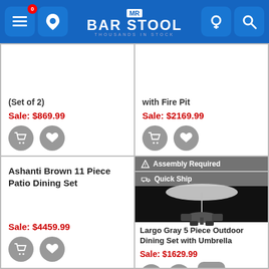[Figure (screenshot): Mr Bar Stool website header with navigation icons and logo]
(Set of 2)
Sale: $869.99
with Fire Pit
Sale: $2169.99
Ashanti Brown 11 Piece Patio Dining Set
Sale: $4459.99
Assembly Required
Quick Ship
[Figure (photo): Largo Gray 5 Piece Outdoor Dining Set with Umbrella product photo on black background]
Largo Gray 5 Piece Outdoor Dining Set with Umbrella
Sale: $1629.99